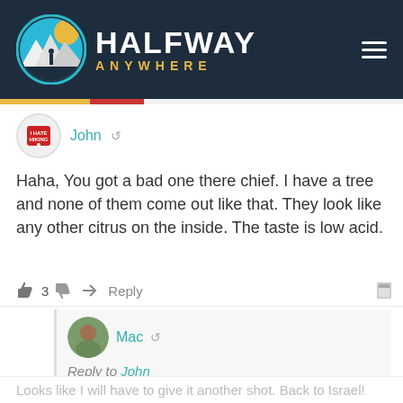[Figure (logo): Halfway Anywhere website logo with mountain/hiker circle icon and text HALFWAY ANYWHERE]
John
Haha, You got a bad one there chief. I have a tree and none of them come out like that. They look like any other citrus on the inside. The taste is low acid.
3  Reply
Mac
Reply to John
Looks like I will have to give it another shot. Back to Israel!